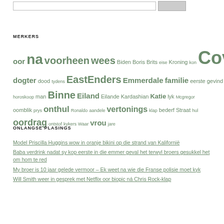MERKERS
oor na voorheen wees Biden Boris Brits eise Kroning kon Covid dogter dood tydens EastEnders Emmerdale familie eerste gevind vakansie horoskoop man Binne Eiland Eilande Kardashian Katie lyk Mcgregor oomblik prys onthul Ronaldo aandele vertonings klap bederf Straat hul oordrag entstof kykers Waar vrou jare
ONLANGSE PLASINGS
Model Priscilla Huggins wow in oranje bikini op die strand van Kalifornië
Baba verdrink nadat sy kop eerste in die emmer geval het terwyl broers gesukkel het om hom te red
My broer is 10 jaar gelede vermoor – Ek weet na wie die Franse polisie moet kyk
Will Smith weer in gesprek met Netflix oor biopic ná Chris Rock-klap